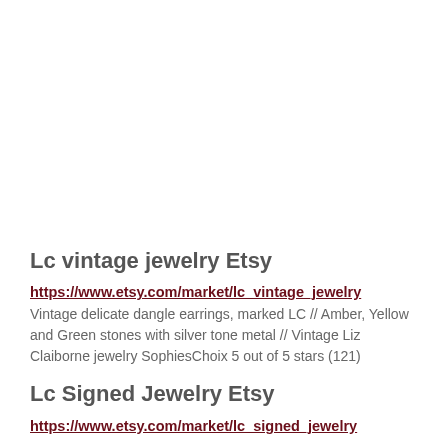Lc vintage jewelry Etsy
https://www.etsy.com/market/lc_vintage_jewelry
Vintage delicate dangle earrings, marked LC // Amber, Yellow and Green stones with silver tone metal // Vintage Liz Claiborne jewelry SophiesChoix 5 out of 5 stars (121)
Lc Signed Jewelry Etsy
https://www.etsy.com/market/lc_signed_jewelry